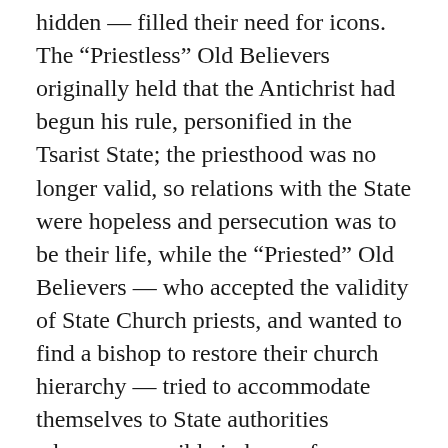hidden — filled their need for icons. The “Priestless” Old Believers originally held that the Antichrist had begun his rule, personified in the Tsarist State; the priesthood was no longer valid, so relations with the State were hopeless and persecution was to be their life, while the “Priested” Old Believers — who accepted the validity of State Church priests, and wanted to find a bishop to restore their church hierarchy — tried to accommodate themselves to State authorities whenever possible in hope of acquiring more “renegade” priests and eventually succeeding in getting bishops.